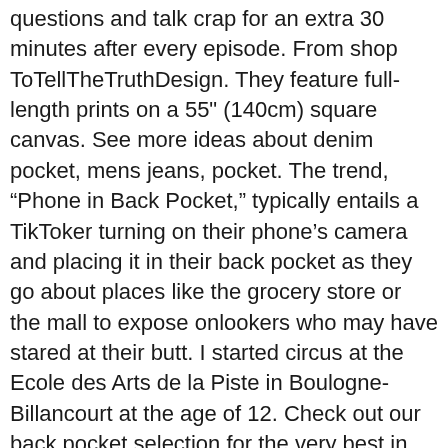questions and talk crap for an extra 30 minutes after every episode. From shop ToTellTheTruthDesign. They feature full-length prints on a 55" (140cm) square canvas. See more ideas about denim pocket, mens jeans, pocket. The trend, “Phone in Back Pocket,” typically entails a TikToker turning on their phone’s camera and placing it in their back pocket as they go about places like the grocery store or the mall to expose onlookers who may have stared at their butt. I started circus at the Ecole des Arts de la Piste in Boulogne-Billancourt at the age of 12. Check out our back pocket selection for the very best in unique or custom, handmade pieces from our shops. $7.99 $ 7. Please Visit Our Sponsor. You can call into Back Pocket … In short, "Noetherian-ness" is a property which generalizes "PID-ness." Free shipping BOTH ways on running shirt with back pockets from our vast selection of styles. Back Pocket Wallet - Spookmas Gift - Spooky Wallet - Coffin Wallet - Bloody Wallet - Ready to Ship - Stocking Stuffers - Key Chain Wallet ToTellTheTruthDesign. By Ann Maloney The Washington Post; Feb 17, 2021 It is vocal-heavy and laden with pop